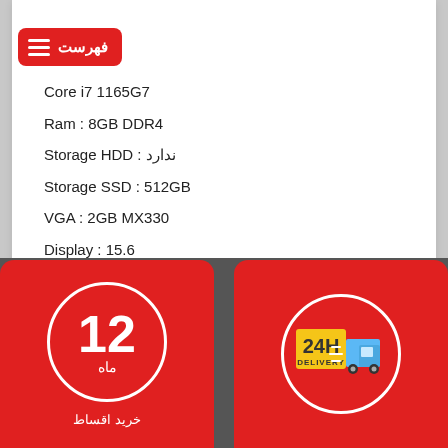[Figure (other): Red menu/hamburger button with Persian label 'فهرست']
Core i7 1165G7
Ram : 8GB DDR4
Storage HDD : ندارد
Storage SSD : 512GB
VGA : 2GB MX330
Display : 15.6
۲۵,۰۹۹,۲۰۰ تومان
مشاهده و خرید
[Figure (infographic): Red card with circle badge showing '12 ماه خرید اقساط' (12-month installment purchase)]
[Figure (infographic): Red card with circle badge showing '24H DELIVERY' with truck icon]